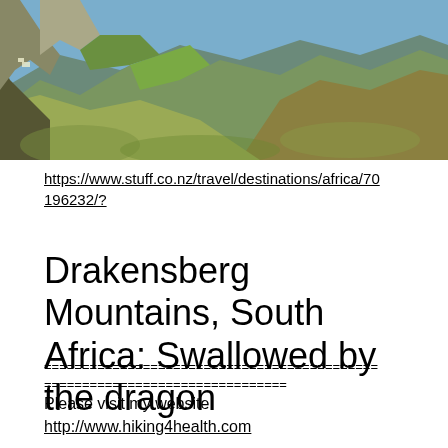[Figure (photo): Aerial/landscape photo of Drakensberg Mountains in South Africa showing steep green mountain slopes with rocky cliffs and a valley below under a clear sky.]
https://www.stuff.co.nz/travel/destinations/africa/70196232/?
Drakensberg Mountains, South Africa: Swallowed by the dragon
============================================
================================
Please visit my website
http://www.hiking4health.com